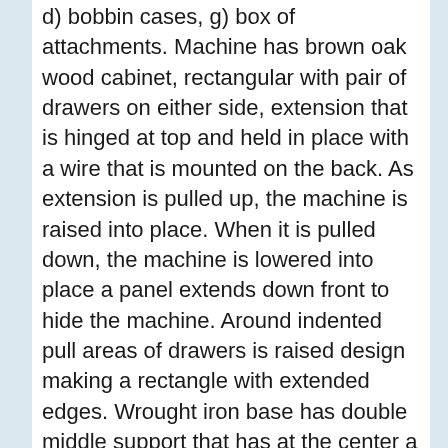d) bobbin cases, g) box of attachments. Machine has brown oak wood cabinet, rectangular with pair of drawers on either side, extension that is hinged at top and held in place with a wire that is mounted on the back. As extension is pulled up, the machine is raised into place. When it is pulled down, the machine is lowered into place a panel extends down front to hide the machine. Around indented pull areas of drawers is raised design making a rectangle with extended edges. Wrought iron base has double middle support that has at the center a small diamond form where two pieces meet. Tear shaped forms are set on the sides between the front and back legs. Treadle mounted on support at bottom. The machine has a black japanned finish. Numerous decals in gold are affixed to front, sides, on face plate, and on bed. They have a floral